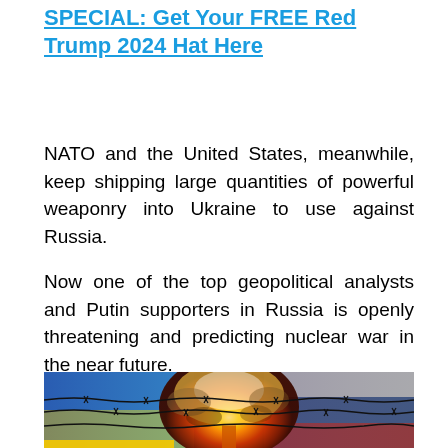SPECIAL: Get Your FREE Red Trump 2024 Hat Here
NATO and the United States, meanwhile, keep shipping large quantities of powerful weaponry into Ukraine to use against Russia.
Now one of the top geopolitical analysts and Putin supporters in Russia is openly threatening and predicting nuclear war in the near future.
[Figure (photo): Composite image showing Ukrainian and Russian flags with barbed wire and a nuclear explosion fireball in the center background]